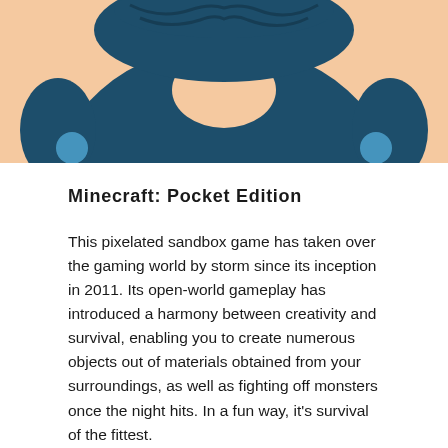[Figure (illustration): Illustrated character viewed from above/behind, wearing a dark teal/navy shirt, with peach-colored skin visible on arms and neck, against a light peach background. Blue circular accents visible on the shoulders.]
Minecraft: Pocket Edition
This pixelated sandbox game has taken over the gaming world by storm since its inception in 2011. Its open-world gameplay has introduced a harmony between creativity and survival, enabling you to create numerous objects out of materials obtained from your surroundings, as well as fighting off monsters once the night hits. In a fun way, it's survival of the fittest.
The goal of the game is simple: gather every useful item there is and create something out of it, may it be shelter and weapons. Then, once the night hits, do your best to survive the onslaught of numerous creatures ranging